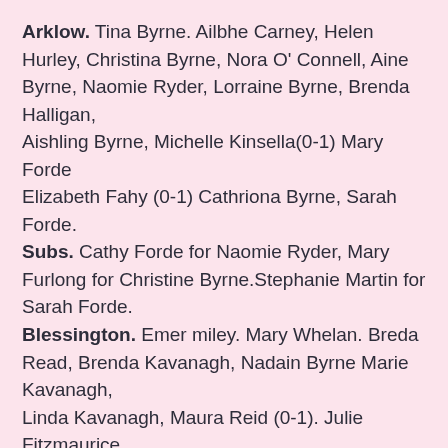Arklow. Tina Byrne. Ailbhe Carney, Helen Hurley, Christina Byrne, Nora O' Connell, Aine Byrne, Naomie Ryder, Lorraine Byrne, Brenda Halligan, Aishling Byrne, Michelle Kinsella(0-1) Mary Forde Elizabeth Fahy (0-1) Cathriona Byrne, Sarah Forde. Subs. Cathy Forde for Naomie Ryder, Mary Furlong for Christine Byrne.Stephanie Martin for Sarah Forde. Blessington. Emer miley. Mary Whelan. Breda Read, Brenda Kavanagh, Nadain Byrne Marie Kavanagh, Linda Kavanagh, Maura Reid (0-1). Julie Fitzmaurice (capt 0-1). Ciara O'Donoghie, Jessica Carroll (0-3). Niamh Ryan (0-1). Niamh Garvey (0-1).